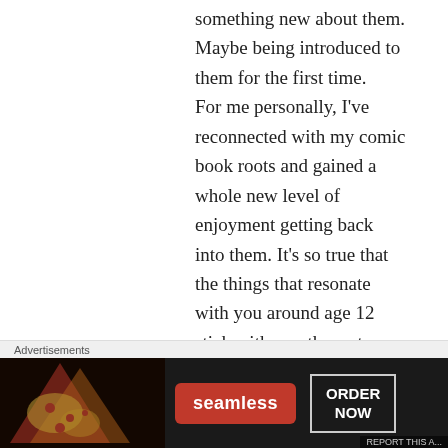something new about them. Maybe being introduced to them for the first time. For me personally, I've reconnected with my comic book roots and gained a whole new level of enjoyment getting back into them. It's so true that the things that resonate with you around age 12 stick with you the restore your life, and I for one am thankful for your seemingly tireless efforts to share your abundant joy of the medium with us. Keep up the good work, and I'm sure your sons will come around too. What's not to love?
[Figure (screenshot): Seamless food delivery advertisement banner with pizza image on left, red Seamless logo button in center, and ORDER NOW button on right, on dark background]